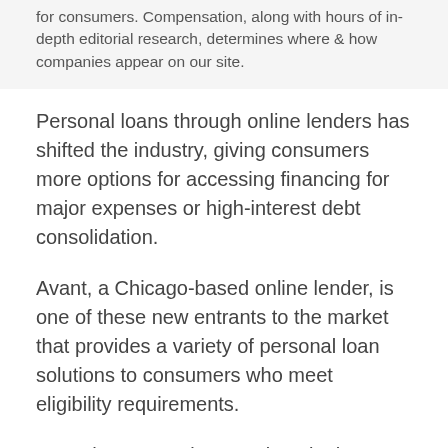for consumers. Compensation, along with hours of in-depth editorial research, determines where & how companies appear on our site.
Personal loans through online lenders has shifted the industry, giving consumers more options for accessing financing for major expenses or high-interest debt consolidation.
Avant, a Chicago-based online lender, is one of these new entrants to the market that provides a variety of personal loan solutions to consumers who meet eligibility requirements.
Avant has several competitors in the personal loan arena which may serve as better solutions to financing needs for consumers with strong credit and steady income. It is important to shop around with various lenders before accepting a new